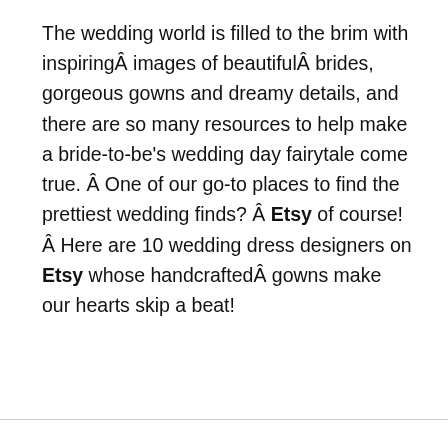The wedding world is filled to the brim with inspiringÂ images of beautifulÂ brides, gorgeous gowns and dreamy details, and there are so many resources to help make a bride-to-be’s wedding day fairytale come true. Â One of our go-to places to find the prettiest wedding finds? Â Etsy of course! Â Here are 10 wedding dress designers on Etsy whose handcraftedÂ gowns make our hearts skip a beat!